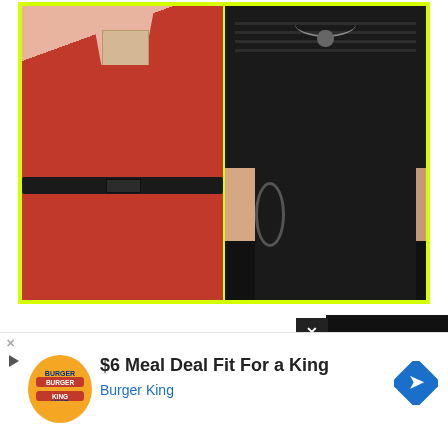[Figure (photo): Side-by-side photo comparison of two people's torsos. Left: person wearing a red strapless dress with a black belt and price tag visible on chest area. Right: person wearing a black outfit with horizontal texture, visible tattoo on arm, necklace with pendant, and ring detail.]
[Figure (screenshot): Advertisement banner at bottom of page: Burger King ad reading '$6 Meal Deal Fit For a King' with Burger King logo and a blue navigation arrow icon. Also shows accessibility icon (blue circle with figure), a black video/content box with X close button, and a circular X dismiss button.]